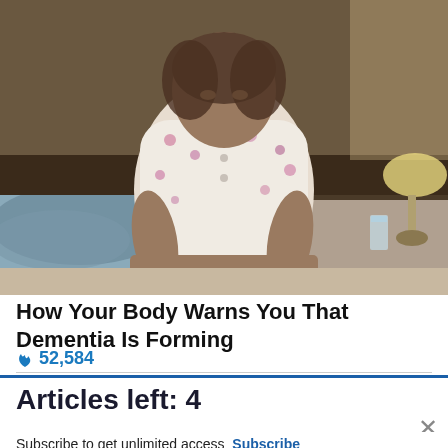[Figure (photo): An elderly person in a floral/patterned pajama or housecoat sitting on a bed in a dimly lit bedroom, with bedding, a lamp, and a glass of water visible in the background.]
How Your Body Warns You That Dementia Is Forming
52,584
[Figure (screenshot): Advertisement banner for Commissary Click2Go showing the Click2Go logo with a green circle, a Commissary badge logo, and partial text 'order groceries | PICKUP' at the bottom, on a teal/blue gradient background.]
Articles left: 4
Subscribe to get unlimited access  Subscribe
Already have an account?  Login here